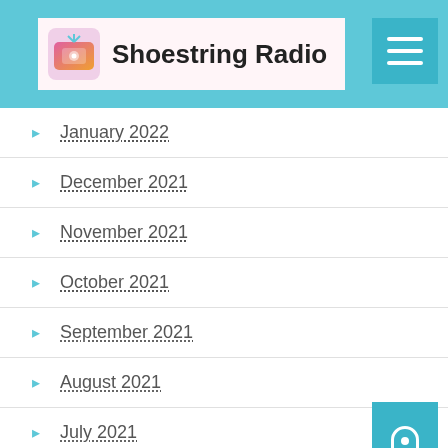Shoestring Radio
January 2022
December 2021
November 2021
October 2021
September 2021
August 2021
July 2021
June 2021